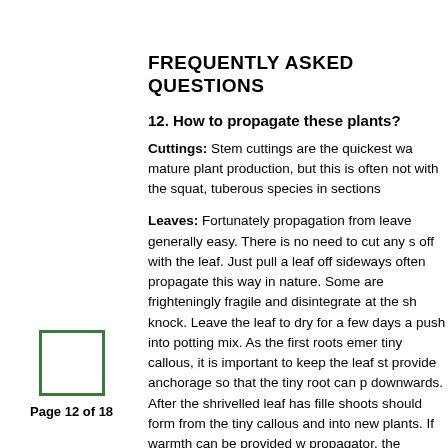FREQUENTLY ASKED QUESTIONS
12. How to propagate these plants?
Cuttings: Stem cuttings are the quickest way to mature plant production, but this is often not possible with the squat, tuberous species in sections
Leaves: Fortunately propagation from leaves is generally easy. There is no need to cut any s off with the leaf. Just pull a leaf off sideways often propagate this way in nature. Some are frighteningly fragile and disintegrate at the sh knock. Leave the leaf to dry for a few days a push into potting mix. As the first roots emer tiny callous, it is important to keep the leaf st provide anchorage so that the tiny root can p downwards. After the shrivelled leaf has fille shoots should form from the tiny callous and into new plants. If warmth can be provided w propagator, the process can be speeded up
Page 12 of 18